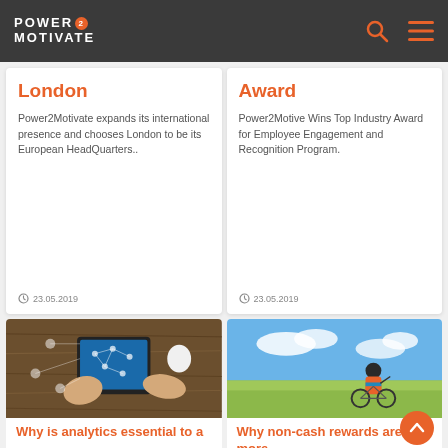Power2Motivate — Navigation header with logo, search, and menu icons
London
Power2Motivate expands its international presence and chooses London to be its European HeadQuarters..
23.05.2019
Award
Power2Motive Wins Top Industry Award for Employee Engagement and Recognition Program.
23.05.2019
[Figure (photo): Hands using a tablet with digital network connection icons overlaid on a wooden desk background]
Why is analytics essential to a
[Figure (photo): Child on a bicycle viewed from behind in a green field with blue sky]
Why non-cash rewards are more